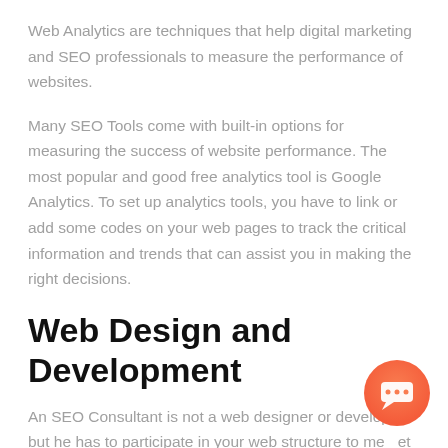Web Analytics are techniques that help digital marketing and SEO professionals to measure the performance of websites.
Many SEO Tools come with built-in options for measuring the success of website performance. The most popular and good free analytics tool is Google Analytics. To set up analytics tools, you have to link or add some codes on your web pages to track the critical information and trends that can assist you in making the right decisions.
Web Design and Development
An SEO Consultant is not a web designer or developer, but he has to participate in your web structure to meet SEO best practices.
Search engine optimization requires testing and auditing